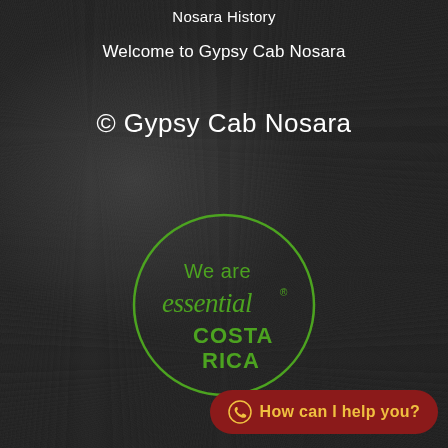Nosara History
Welcome to Gypsy Cab Nosara
© Gypsy Cab Nosara
[Figure (logo): We are essential COSTA RICA logo — green circle outline with green script and bold text inside]
How can I help you?